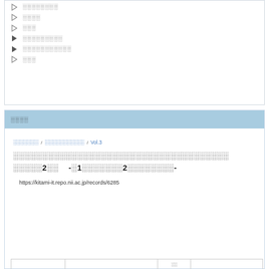▷ ░░░░░░░░
▷ ░░░░
▷ ░░░
▶ ░░░░░░░░░
▶ ░░░░░░░░░░░
▷ ░░░
░░░░
░░░░░░░  /  ░░░░░░░░░░░  /  Vol.3
░░░░░░░░░░░░░░░░░░░░░░░░░░░░░░░░░░░░░░░░░░░░░░░░░░░░░░░░░░░░░░░░░░░░░░░░░░░░░░░░░░░░░░░░░░░░░░░░░░░░░░░░░░░░░░░░░░░░░░░░░░░░░░2░░  -░1░░░░░░░2░░░░░░░░-
https://kitami-it.repo.nii.ac.jp/records/6285
|  |  | ░░ |  |
| --- | --- | --- | --- |